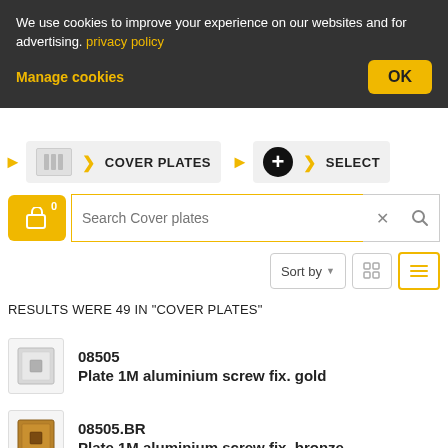We use cookies to improve your experience on our websites and for advertising. privacy policy
Manage cookies
OK
[Figure (screenshot): Navigation breadcrumb showing cover plates section with icons and select option]
0  Search Cover plates
Sort by
RESULTS WERE 49 IN "COVER PLATES"
08505
Plate 1M aluminium screw fix. gold
08505.BR
Plate 1M aluminium screw fix. bronze